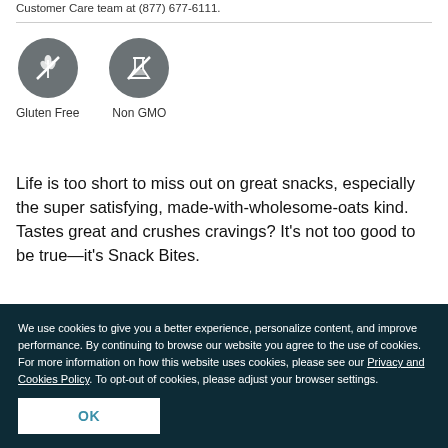Customer Care team at (877) 677-6111.
[Figure (illustration): Two circular dark gray icons: Gluten Free (wheat crossed out) and Non GMO (flask crossed out) with labels below each.]
Life is too short to miss out on great snacks, especially the super satisfying, made-with-wholesome-oats kind. Tastes great and crushes cravings? It’s not too good to be true—it’s Snack Bites.
We use cookies to give you a better experience, personalize content, and improve performance. By continuing to browse our website you agree to the use of cookies. For more information on how this website uses cookies, please see our Privacy and Cookies Policy. To opt-out of cookies, please adjust your browser settings.
OK